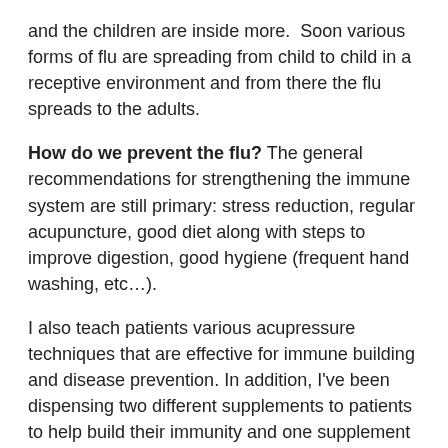and the children are inside more.  Soon various forms of flu are spreading from child to child in a receptive environment and from there the flu spreads to the adults.
How do we prevent the flu? The general recommendations for strengthening the immune system are still primary: stress reduction, regular acupuncture, good diet along with steps to improve digestion, good hygiene (frequent hand washing, etc…).
I also teach patients various acupressure techniques that are effective for immune building and disease prevention. In addition, I've been dispensing two different supplements to patients to help build their immunity and one supplement to keep in reserve at home in case a cold or flu starts. We dispense only to current patients since no formula is indicated for everyone.